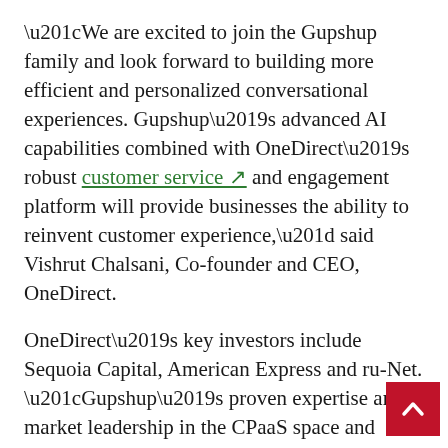“We are excited to join the Gupshup family and look forward to building more efficient and personalized conversational experiences. Gupshup’s advanced AI capabilities combined with OneDirect’s robust customer service and engagement platform will provide businesses the ability to reinvent customer experience,” said Vishrut Chalsani, Co-founder and CEO, OneDirect.
OneDirect’s key investors include Sequoia Capital, American Express and ru-Net. “Gupshup’s proven expertise and market leadership in the CPaaS space and OneDirect’s truly omnichannel customer service platform is a winning combo for businesses looking to redefine digital customer experience (CX),” said Bharat Singh, Operating Partner, Sequoia Capital. “This will help both companies